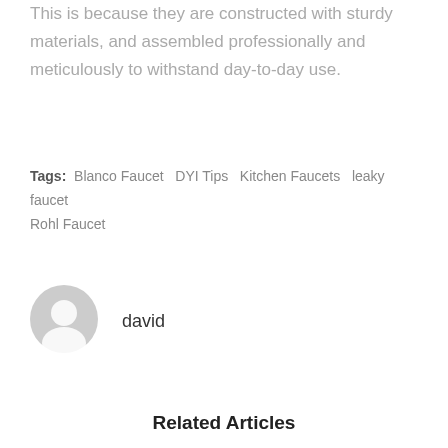This is because they are constructed with sturdy materials, and assembled professionally and meticulously to withstand day-to-day use.
Tags: Blanco Faucet · DYI Tips · Kitchen Faucets · leaky faucet · Rohl Faucet
[Figure (illustration): Gray circular avatar icon of a person silhouette]
david
Related Articles